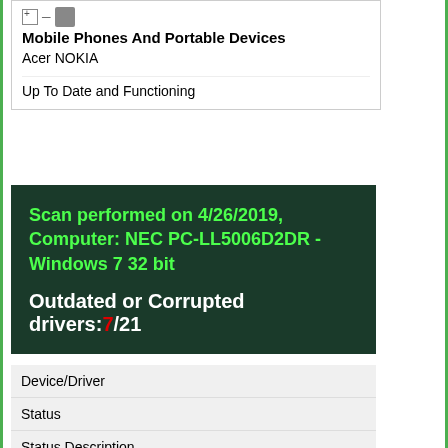Mobile Phones And Portable Devices
Acer NOKIA
Up To Date and Functioning
Scan performed on 4/26/2019, Computer: NEC PC-LL5006D2DR - Windows 7 32 bit
Outdated or Corrupted drivers: 7/21
Device/Driver
Status
Status Description
Updated By Scanner
Motherboards
Intel(R) Xeon(R)-Prozessor (E5-Produktfamilie)/Core i7 -
Systemadressdecoder - 3CF6
Outdated